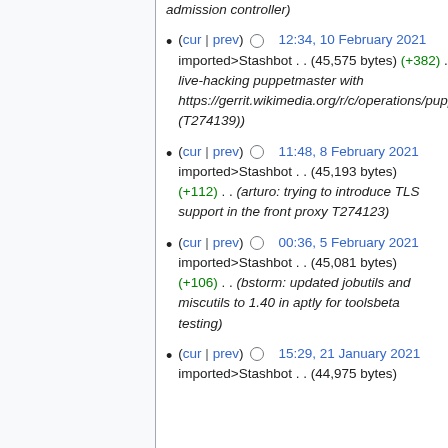(cur | prev) 12:34, 10 February 2021 imported>Stashbot . . (45,575 bytes) (+382) . . (arturo: live-hacking puppetmaster with https://gerrit.wikimedia.org/r/c/operations/puppet/+/662941 (T274139))
(cur | prev) 11:48, 8 February 2021 imported>Stashbot . . (45,193 bytes) (+112) . . (arturo: trying to introduce TLS support in the front proxy T274123)
(cur | prev) 00:36, 5 February 2021 imported>Stashbot . . (45,081 bytes) (+106) . . (bstorm: updated jobutils and miscutils to 1.40 in aptly for toolsbeta testing)
(cur | prev) 15:29, 21 January 2021 imported>Stashbot . . (44,975 bytes) (+107) . . (bstorm: updated the...)